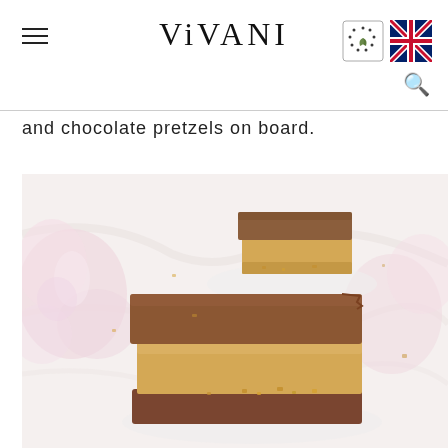VIVANI
and chocolate pretzels on board.
[Figure (photo): Close-up photo of layered chocolate caramel bars with a milk chocolate top layer and golden caramel middle layer, displayed on a white marble surface with pink flowers in the background. Two bars visible — one in the background and a larger one in the foreground with crumble toppings.]